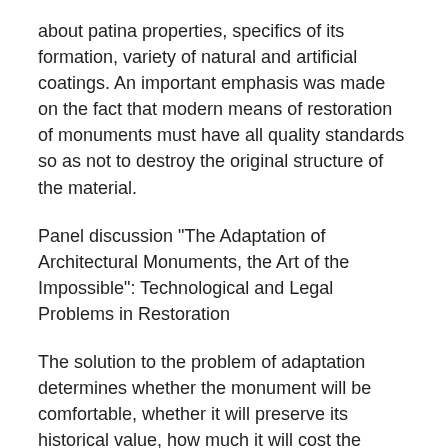about patina properties, specifics of its formation, variety of natural and artificial coatings. An important emphasis was made on the fact that modern means of restoration of monuments must have all quality standards so as not to destroy the original structure of the material.
Panel discussion "The Adaptation of Architectural Monuments, the Art of the Impossible": Technological and Legal Problems in Restoration
The solution to the problem of adaptation determines whether the monument will be comfortable, whether it will preserve its historical value, how much it will cost the investor, and whether the end user will like it. The main difficulty is in the conflict of interests and with the requirements of the constantly changing social structure of the society. Participants of the discussion tried to identify key positions for improving methodological and legal grounds for regeneration, renovation, reconstruction of historical monuments, as restoration of the...